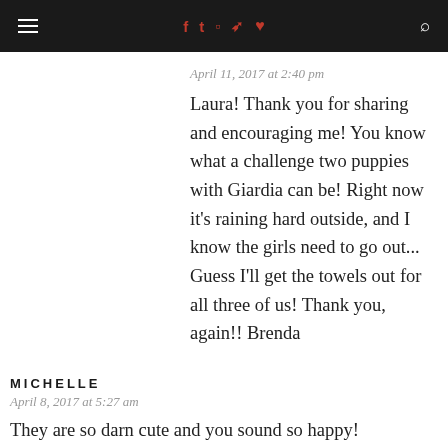≡  f  t  [instagram]  p  ♥  🔍
April 11, 2017 at 2:40 pm
Laura! Thank you for sharing and encouraging me! You know what a challenge two puppies with Giardia can be! Right now it's raining hard outside, and I know the girls need to go out... Guess I'll get the towels out for all three of us! Thank you, again!! Brenda
MICHELLE
April 8, 2017 at 5:27 am
They are so darn cute and you sound so happy!